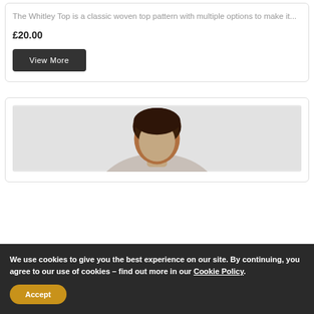The Whitley Top is a classic woven top pattern with multiple options to make it...
£20.00
View More
[Figure (photo): Partial view of a person with dark brown hair, photographed from behind/side, against a light grey background.]
We use cookies to give you the best experience on our site. By continuing, you agree to our use of cookies – find out more in our Cookie Policy.
Accept